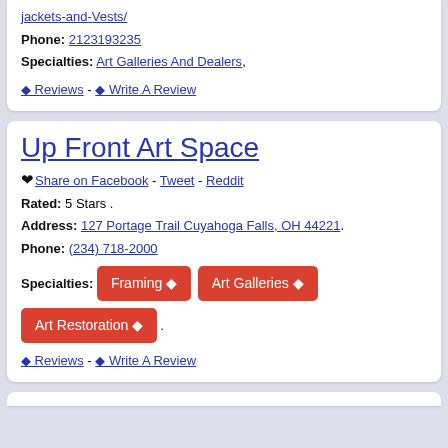jackets-and-Vests/
Phone: 2123193235
Specialties: Art Galleries And Dealers,
0 Reviews - 0 Write A Review
Up Front Art Space
♥ Share on Facebook - Tweet - Reddit
Rated: 5 Stars .
Address: 127 Portage Trail Cuyahoga Falls, OH 44221.
Phone: (234) 718-2000
Specialties: Framing   Art Galleries   Art Restoration .
0 Reviews - 0 Write A Review